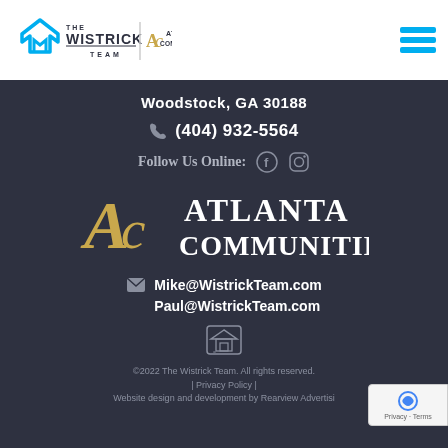[Figure (logo): The Wistrick Team logo with house icon in blue and Atlanta Communities logo in gold, plus hamburger menu icon]
Woodstock, GA 30188
(404) 932-5564
Follow Us Online:
[Figure (logo): Atlanta Communities large logo with AC monogram in gold and white text]
Mike@WistrickTeam.com
Paul@WistrickTeam.com
[Figure (illustration): Equal housing opportunity logo]
©2022 The Wistrick Team. All rights reserved. | Privacy Policy | Website design and development by Rearview Advertisi